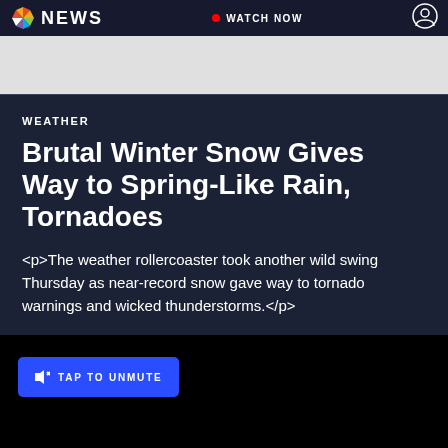NBC NEWS — WATCH NOW
WEATHER
Brutal Winter Snow Gives Way to Spring-Like Rain, Tornadoes
<p>The weather rollercoaster took another wild swing Thursday as near-record snow gave way to tornado warnings and wicked thunderstorms.</p>
[Figure (screenshot): Video player section with dark/black background showing a TAP TO UNMUTE button and an Open in the NBC News app banner at the bottom]